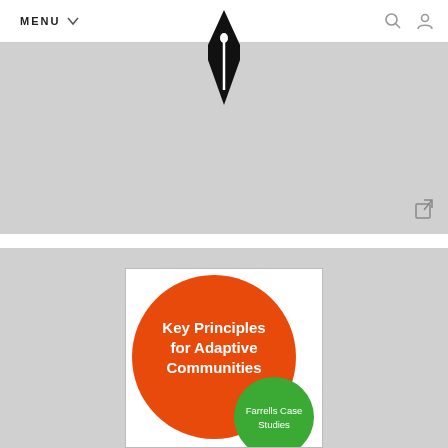MENU
[Figure (logo): Pen nib / fountain pen nib logo in black, centered at the top navigation bar]
[Figure (screenshot): Gray image placeholder area (top section) with a share/external link icon in bottom right corner]
[Figure (illustration): Book cover with white background: large orange circle containing white bold text 'Key Principles for Adaptive Communities', and a smaller green circle overlapping at bottom-right containing white text 'Farrells Case Studies']